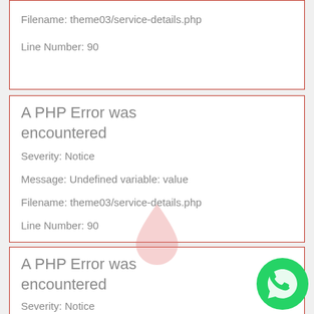Filename: theme03/service-details.php
Line Number: 90
A PHP Error was encountered
Severity: Notice
Message: Undefined variable: value
Filename: theme03/service-details.php
Line Number: 90
A PHP Error was encountered
Severity: Notice